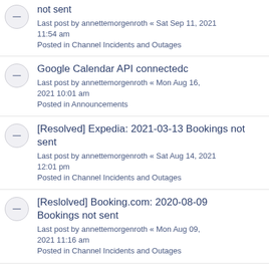not sent
Last post by annettemorgenroth « Sat Sep 11, 2021 11:54 am
Posted in Channel Incidents and Outages
Google Calendar API connectedc
Last post by annettemorgenroth « Mon Aug 16, 2021 10:01 am
Posted in Announcements
[Resolved] Expedia: 2021-03-13 Bookings not sent
Last post by annettemorgenroth « Sat Aug 14, 2021 12:01 pm
Posted in Channel Incidents and Outages
[Reslolved] Booking.com: 2020-08-09 Bookings not sent
Last post by annettemorgenroth « Mon Aug 09, 2021 11:16 am
Posted in Channel Incidents and Outages
[Resolved]Expedia: 2021-07 -25 Outage
Last post by annettemorgenroth « Mon Jul 26, 2021 7:28 am